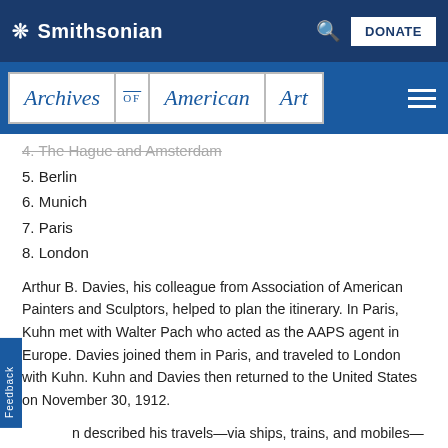Smithsonian
Archives of American Art
4. The Hague and Amsterdam
5. Berlin
6. Munich
7. Paris
8. London
Arthur B. Davies, his colleague from Association of American Painters and Sculptors, helped to plan the itinerary. In Paris, Kuhn met with Walter Pach who acted as the AAPS agent in Europe. Davies joined them in Paris, and traveled to London with Kuhn. Kuhn and Davies then returned to the United States on November 30, 1912.
n described his travels—via ships, trains, and mobiles—in extensive, vivid correspondence with Vera, wife. In letters and postcards, he shared details about fellow passengers, accommodations, cafés, meals, and